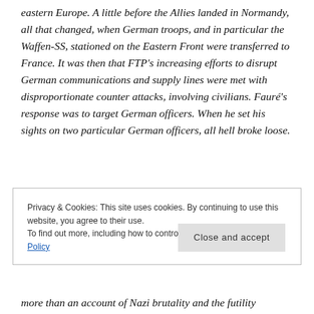eastern Europe. A little before the Allies landed in Normandy, all that changed, when German troops, and in particular the Waffen-SS, stationed on the Eastern Front were transferred to France. It was then that FTP's increasing efforts to disrupt German communications and supply lines were met with disproportionate counter attacks, involving civilians. Fauré's response was to target German officers. When he set his sights on two particular German officers, all hell broke loose.
Privacy & Cookies: This site uses cookies. By continuing to use this website, you agree to their use.
To find out more, including how to control cookies, see here: Cookie Policy
more than an account of Nazi brutality and the futility